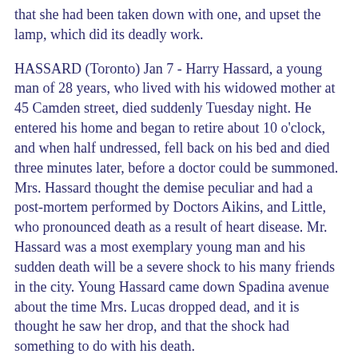that she had been taken down with one, and upset the lamp, which did its deadly work.
HASSARD (Toronto) Jan 7 - Harry Hassard, a young man of 28 years, who lived with his widowed mother at 45 Camden street, died suddenly Tuesday night. He entered his home and began to retire about 10 o'clock, and when half undressed, fell back on his bed and died three minutes later, before a doctor could be summoned. Mrs. Hassard thought the demise peculiar and had a post-mortem performed by Doctors Aikins, and Little, who pronounced death as a result of heart disease. Mr. Hassard was a most exemplary young man and his sudden death will be a severe shock to his many friends in the city. Young Hassard came down Spadina avenue about the time Mrs. Lucas dropped dead, and it is thought he saw her drop, and that the shock had something to do with his death.
Friday, January 8, 1897
WALLINGTON - In this city on the 8th inst., at St. Joseph's, hospital Thomas Wallington, a native of London, Eng., aged 65 years. Funeral Sunday at 2:30 p.m., from his son's residence,